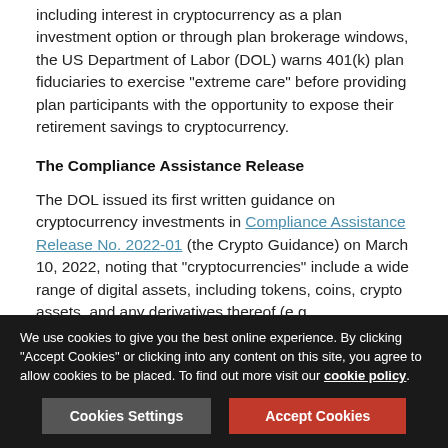including interest in cryptocurrency as a plan investment option or through plan brokerage windows, the US Department of Labor (DOL) warns 401(k) plan fiduciaries to exercise "extreme care" before providing plan participants with the opportunity to expose their retirement savings to cryptocurrency.
The Compliance Assistance Release
The DOL issued its first written guidance on cryptocurrency investments in Compliance Assistance Release No. 2022-01 (the Crypto Guidance) on March 10, 2022, noting that "cryptocurrencies" include a wide range of digital assets, including tokens, coins, crypto assets, and any derivatives thereof (e.g., cryptocurrency futures) offered under 401(k) plans as direct investments options, through investment products and/or through via brokerage accounts.
We use cookies to give you the best online experience. By clicking "Accept Cookies" or clicking into any content on this site, you agree to allow cookies to be placed. To find out more visit our cookie policy.